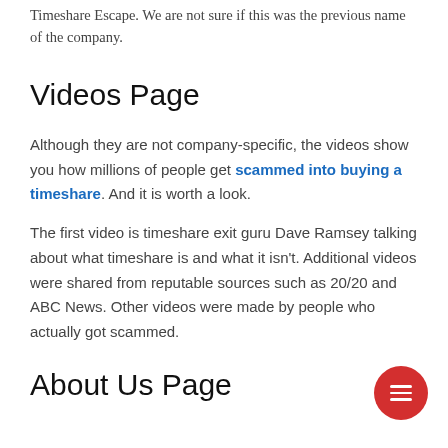Timeshare Escape. We are not sure if this was the previous name of the company.
Videos Page
Although they are not company-specific, the videos show you how millions of people get scammed into buying a timeshare. And it is worth a look.
The first video is timeshare exit guru Dave Ramsey talking about what timeshare is and what it isn't. Additional videos were shared from reputable sources such as 20/20 and ABC News. Other videos were made by people who actually got scammed.
About Us Page